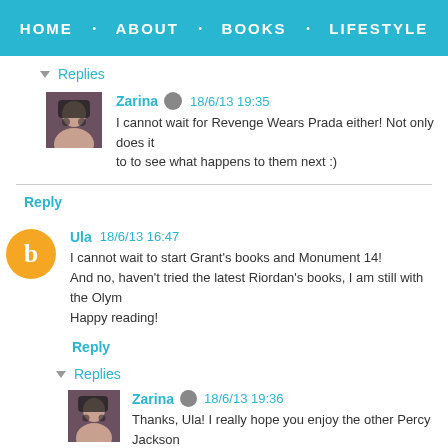HOME · ABOUT · BOOKS · LIFESTYLE
▾ Replies
Zarina  18/6/13 19:35
I cannot wait for Revenge Wears Prada either! Not only does it to to see what happens to them next :)
Reply
Ula  18/6/13 16:47
I cannot wait to start Grant's books and Monument 14!
And no, haven't tried the latest Riordan's books, I am still with the Olym
Happy reading!
Reply
▾ Replies
Zarina  18/6/13 19:36
Thanks, Ula! I really hope you enjoy the other Percy Jackson
Egyptian gods.